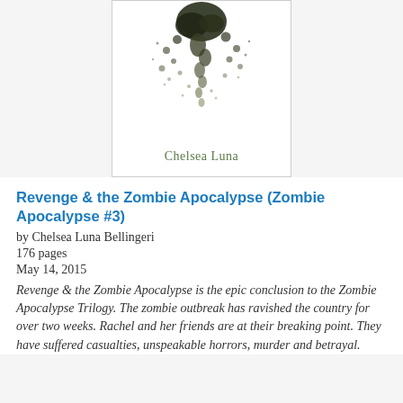[Figure (illustration): Book cover thumbnail showing dark ink splatter/drip design on white background with author name 'Chelsea Luna' in olive/dark green serif font at the bottom.]
Revenge & the Zombie Apocalypse (Zombie Apocalypse #3)
by Chelsea Luna Bellingeri
176 pages
May 14, 2015
Revenge & the Zombie Apocalypse is the epic conclusion to the Zombie Apocalypse Trilogy. The zombie outbreak has ravished the country for over two weeks. Rachel and her friends are at their breaking point. They have suffered casualties, unspeakable horrors, murder and betrayal.